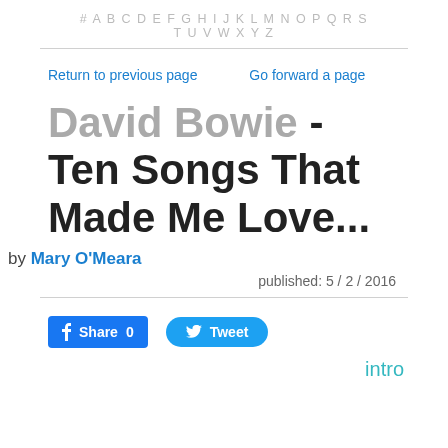# A B C D E F G H I J K L M N O P Q R S T U V W X Y Z
Return to previous page    Go forward a page
David Bowie - Ten Songs That Made Me Love...
by Mary O'Meara
published: 5 / 2 / 2016
Share 0   Tweet
intro